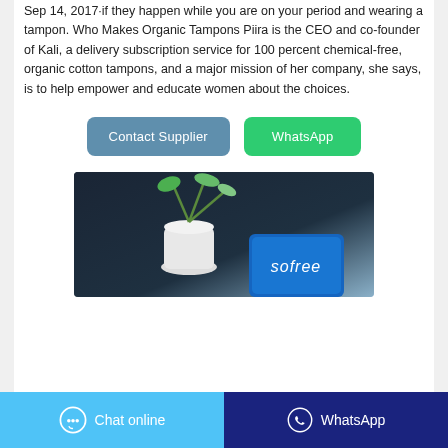Sep 14, 2017·if they happen while you are on your period and wearing a tampon. Who Makes Organic Tampons Piira is the CEO and co-founder of Kali, a delivery subscription service for 100 percent chemical-free, organic cotton tampons, and a major mission of her company, she says, is to help empower and educate women about the choices.
[Figure (other): Two buttons: 'Contact Supplier' (blue-grey rounded) and 'WhatsApp' (green rounded)]
[Figure (photo): Product photo showing a blue Sofree branded feminine hygiene product package in front of a white vase with green plant stems against a dark blue background]
[Figure (other): Footer bar with two sections: 'Chat online' (light blue with chat bubble icon) and 'WhatsApp' (dark blue with WhatsApp phone icon)]